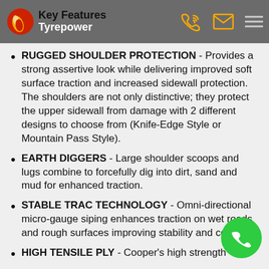Key Features - Tyrepower
RUGGED SHOULDER PROTECTION - Provides a strong assertive look while delivering improved soft surface traction and increased sidewall protection. The shoulders are not only distinctive; they protect the upper sidewall from damage with 2 different designs to choose from (Knife-Edge Style or Mountain Pass Style).
EARTH DIGGERS - Large shoulder scoops and lugs combine to forcefully dig into dirt, sand and mud for enhanced traction.
STABLE TRAC TECHNOLOGY - Omni-directional micro-gauge siping enhances traction on wet roads and rough surfaces improving stability and control.
HIGH TENSILE PLY - Cooper's high strength...